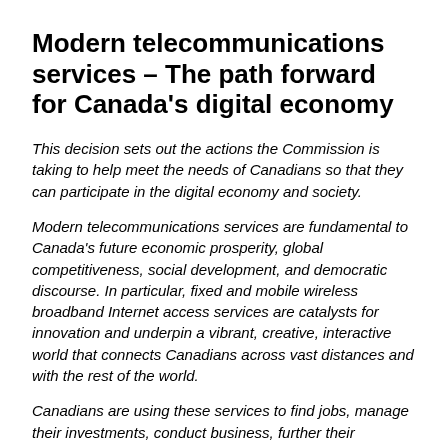Modern telecommunications services – The path forward for Canada's digital economy
This decision sets out the actions the Commission is taking to help meet the needs of Canadians so that they can participate in the digital economy and society.
Modern telecommunications services are fundamental to Canada's future economic prosperity, global competitiveness, social development, and democratic discourse. In particular, fixed and mobile wireless broadband Internet access services are catalysts for innovation and underpin a vibrant, creative, interactive world that connects Canadians across vast distances and with the rest of the world.
Canadians are using these services to find jobs, manage their investments, conduct business, further their